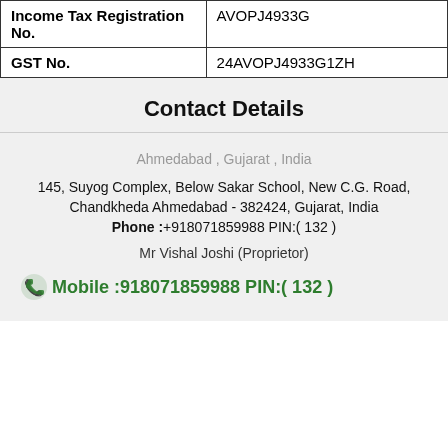|  |  |
| --- | --- |
| Income Tax Registration No. | AVOPJ4933G |
| GST No. | 24AVOPJ4933G1ZH |
Contact Details
Ahmedabad , Gujarat , India
145, Suyog Complex, Below Sakar School, New C.G. Road, Chandkheda Ahmedabad - 382424, Gujarat, India
Phone :+918071859988 PIN:( 132 )
Mr Vishal Joshi (Proprietor)
Mobile :918071859988 PIN:( 132 )